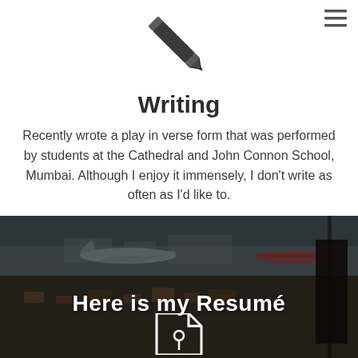[Figure (illustration): Pencil/pen icon in dark gray, pointing lower-left]
Writing
Recently wrote a play in verse form that was performed by students at the Cathedral and John Connon School, Mumbai. Although I enjoy it immensely, I don't write as often as I'd like to.
[Figure (photo): Airport tarmac photo with aircraft and ground crew equipment, dark and moody tone, a silhouette of a person on the right]
Here is my Resumé
[Figure (illustration): White document/file icon partially visible at the bottom]